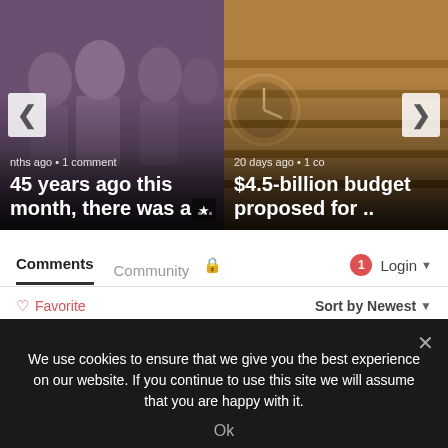[Figure (screenshot): Carousel card showing group of people with overlay text '45 years ago this month, there was a ...' and metadata 'nths ago • 1 comment']
[Figure (screenshot): Carousel card showing wooden stairs/building with overlay text '$4.5-billion budget proposed for ..' and metadata '20 days ago • 1 co']
Comments  Community  🔒  1  Login ▾
♡ Favorite   Sort by Newest ▾
Start the discussion...
We use cookies to ensure that we give you the best experience on our website. If you continue to use this site we will assume that you are happy with it.
Ok